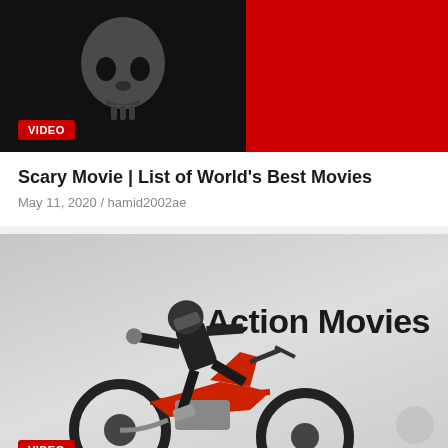[Figure (screenshot): Thumbnail image split in two halves: left half shows a dark grayscale skull/creature on black background with a red VIDEO badge, right half is solid red]
Scary Movie | List of World's Best Movies
May 11, 2020 / hamid2002ae
[Figure (photo): Action Movies thumbnail: motocross rider performing a trick (hanging off a red dirt bike mid-air) against a light gray background, with 'Action Movies' text overlay and a VIDEO badge in the bottom-left corner]
Action Movies | ...